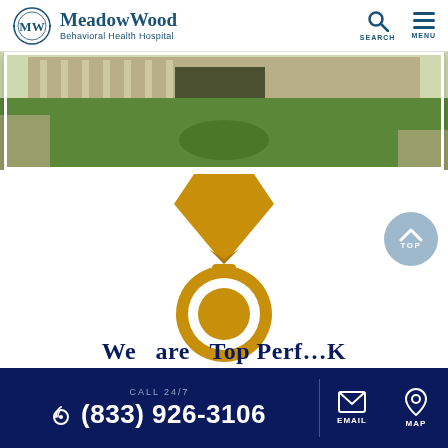[Figure (logo): MeadowWood Behavioral Health Hospital logo with MW circular emblem and hospital name]
[Figure (photo): Exterior photo of MeadowWood Behavioral Health Hospital building with landscaped roundabout]
[Figure (illustration): Gold medal icon with ribbon/chevron shape above a circular medal]
We are Top Performers K
CALL 24/7
(833) 926-3106
[Figure (illustration): EMAIL and MAP icons in footer navigation]
[Figure (illustration): TOP scroll-to-top button]